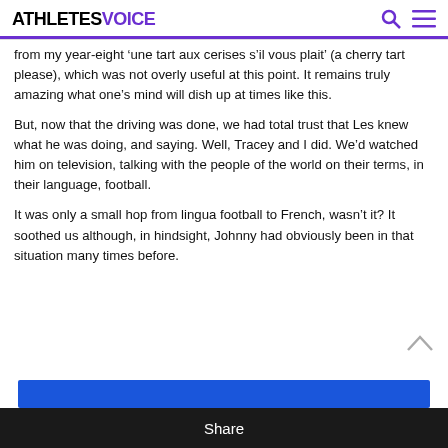ATHLETESVOICE
from my year-eight ‘une tart aux cerises s’il vous plait’ (a cherry tart please), which was not overly useful at this point. It remains truly amazing what one’s mind will dish up at times like this.
But, now that the driving was done, we had total trust that Les knew what he was doing, and saying. Well, Tracey and I did. We’d watched him on television, talking with the people of the world on their terms, in their language, football.
It was only a small hop from lingua football to French, wasn’t it? It soothed us although, in hindsight, Johnny had obviously been in that situation many times before.